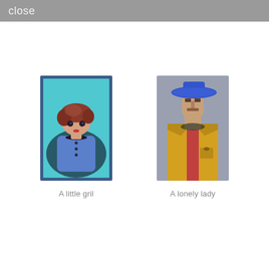close
[Figure (illustration): Painting of a young girl with reddish-brown hair, wearing a blue cardigan, set against a turquoise background with a blue frame.]
A little gril
[Figure (illustration): Sculpture or artwork of a figure wearing a bright blue wide-brimmed hat and a yellow coat with a red stripe, against a grey background.]
A lonely lady